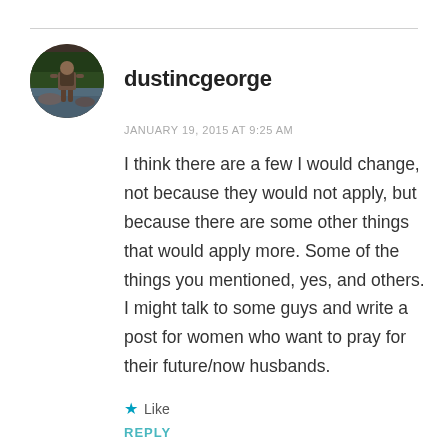[Figure (photo): Circular avatar photo of a person standing near a stream or river, viewed from behind, wearing a backpack. Dark/nature background.]
dustincgeorge
JANUARY 19, 2015 AT 9:25 AM
I think there are a few I would change, not because they would not apply, but because there are some other things that would apply more. Some of the things you mentioned, yes, and others. I might talk to some guys and write a post for women who want to pray for their future/now husbands.
★ Like
REPLY